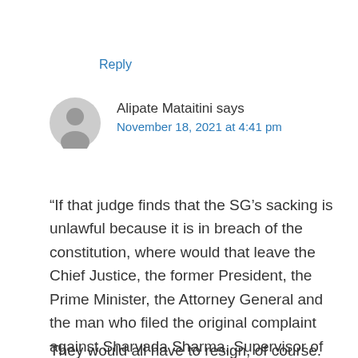Reply
Alipate Mataitini says
November 18, 2021 at 4:41 pm
“If that judge finds that the SG’s sacking is unlawful because it is in breach of the constitution, where would that leave the Chief Justice, the former President, the Prime Minister, the Attorney General and the man who filed the original complaint against Sharvada Sharma, Supervisor of Elections Mohammed Saneem?”
They would all have to resign, of course. I’m not